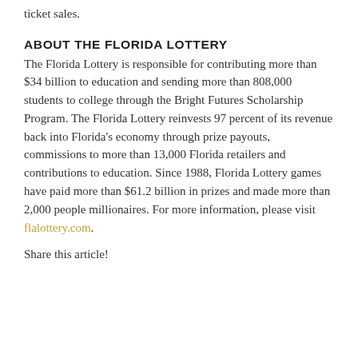ticket sales.
ABOUT THE FLORIDA LOTTERY
The Florida Lottery is responsible for contributing more than $34 billion to education and sending more than 808,000 students to college through the Bright Futures Scholarship Program. The Florida Lottery reinvests 97 percent of its revenue back into Florida's economy through prize payouts, commissions to more than 13,000 Florida retailers and contributions to education. Since 1988, Florida Lottery games have paid more than $61.2 billion in prizes and made more than 2,000 people millionaires. For more information, please visit flalottery.com.
Share this article!